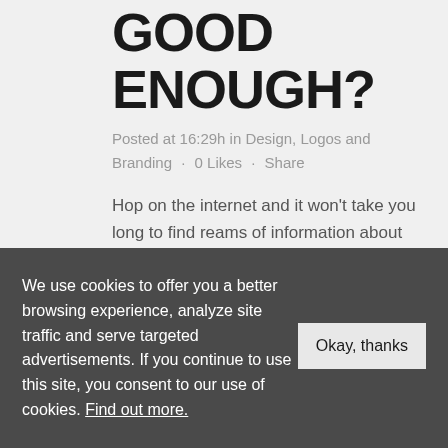LOGO IS GOOD ENOUGH?
Posted at 16:29h in Design, Logos and Branding · 0 Likes · Share
Hop on the internet and it won't take you long to find reams of information about logos. What makes a good one? When is it time to change an old logo and revamp it into something new and...
We use cookies to offer you a better browsing experience, analyze site traffic and serve targeted advertisements. If you continue to use this site, you consent to our use of cookies. Find out more.